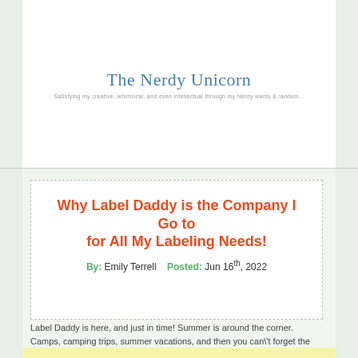The Nerdy Unicorn
Why Label Daddy is the Company I Go to for All My Labeling Needs!
By: Emily Terrell   Posted: Jun 16th, 2022
Label Daddy is here, and just in time! Summer is around the corner. Camps, camping trips, summer vacations, and then you can't forget the back to school that comes after. All these things have something in common. Can you guess what it is? After my quick disclaimer, I can tell you what.  *…